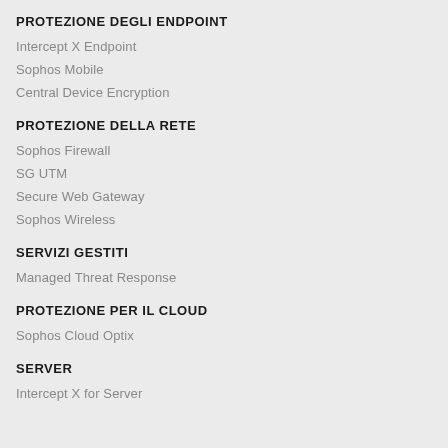PROTEZIONE DEGLI ENDPOINT
Intercept X Endpoint
Sophos Mobile
Central Device Encryption
PROTEZIONE DELLA RETE
Sophos Firewall
SG UTM
Secure Web Gateway
Sophos Wireless
SERVIZI GESTITI
Managed Threat Response
PROTEZIONE PER IL CLOUD
Sophos Cloud Optix
SERVER
Intercept X for Server